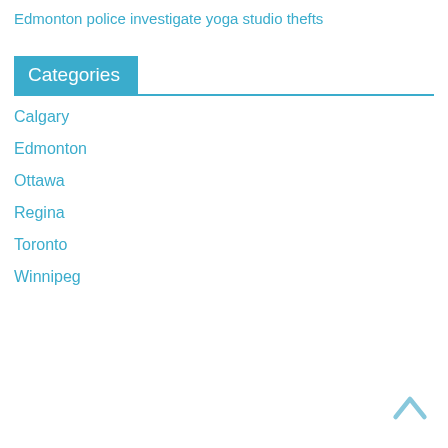Edmonton police investigate yoga studio thefts
Categories
Calgary
Edmonton
Ottawa
Regina
Toronto
Winnipeg